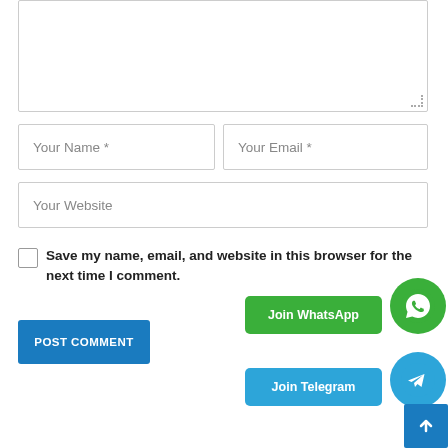[Figure (screenshot): Textarea input field with resize handle at bottom right]
[Figure (screenshot): Two text input fields: 'Your Name *' and 'Your Email *']
[Figure (screenshot): Text input field: 'Your Website']
Save my name, email, and website in this browser for the next time I comment.
[Figure (screenshot): POST COMMENT button (blue)]
[Figure (screenshot): Join WhatsApp button (green) with WhatsApp icon circle]
[Figure (screenshot): Join Telegram button (blue) with Telegram icon circle]
[Figure (screenshot): Scroll to top arrow button (blue) at bottom right]